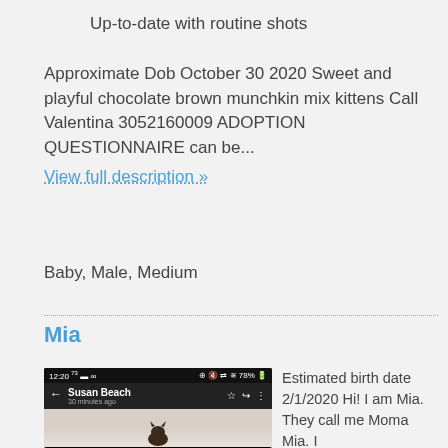Up-to-date with routine shots
Approximate Dob October 30 2020 Sweet and playful chocolate brown munchkin mix kittens Call Valentina 3052160009 ADOPTION QUESTIONNAIRE can be...
View full description »
Baby, Male, Medium
Mia
[Figure (screenshot): Screenshot of an Android email app showing a message from Susan Beach sent 30 minutes ago, with a photo of a cat below the header.]
Estimated birth date 2/1/2020 Hi! I am Mia. They call me Moma Mia. I